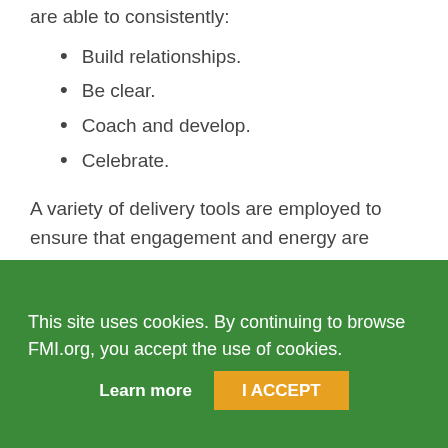are able to consistently:
Build relationships.
Be clear.
Coach and develop.
Celebrate.
A variety of delivery tools are employed to ensure that engagement and energy are maintained at a high level throughout the entire program. All of the modules are focused on
This site uses cookies. By continuing to browse FMI.org, you accept the use of cookies.
Learn more
I ACCEPT